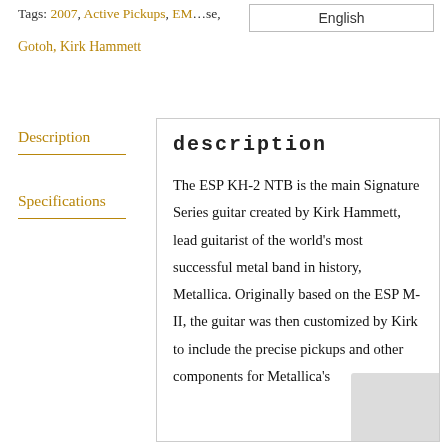Tags: 2007, Active Pickups, EMG, ESP, Floyd Rose, Gotoh, Kirk Hammett
English
Description
Specifications
Description
The ESP KH-2 NTB is the main Signature Series guitar created by Kirk Hammett, lead guitarist of the world's most successful metal band in history, Metallica. Originally based on the ESP M-II, the guitar was then customized by Kirk to include the precise pickups and other components for Metallica's